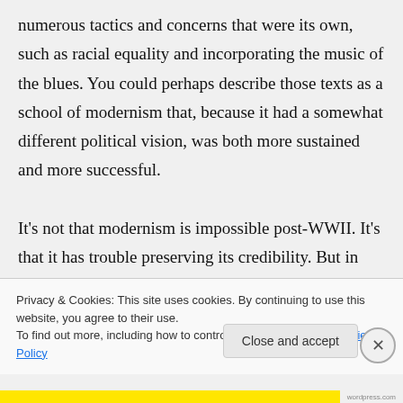numerous tactics and concerns that were its own, such as racial equality and incorporating the music of the blues. You could perhaps describe those texts as a school of modernism that, because it had a somewhat different political vision, was both more sustained and more successful.
It's not that modernism is impossible post-WWII. It's that it has trouble preserving its credibility. But in some cases writers
Privacy & Cookies: This site uses cookies. By continuing to use this website, you agree to their use.
To find out more, including how to control cookies, see here: Cookie Policy